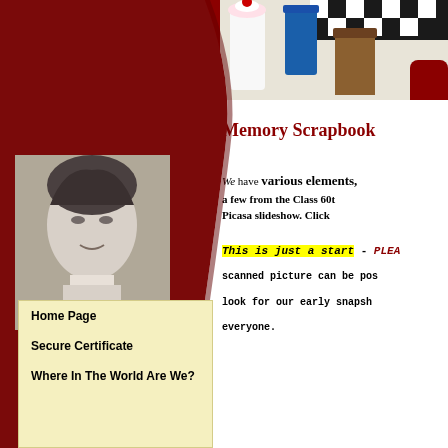[Figure (photo): Top left: vintage jukebox with red and gold colors, 1950s diner theme]
[Figure (photo): Top right: diner items including milkshake, cups, checkered floor]
[Figure (photo): James Dean black and white portrait photo in the left column]
Memory Scrapbook
We have various elements, a few from the Class 60t Picasa slideshow.  Click
This is just a start - PLEA scanned picture can be pos look for our early snapsh everyone.
Home Page
Secure Certificate
Where In The World Are We?